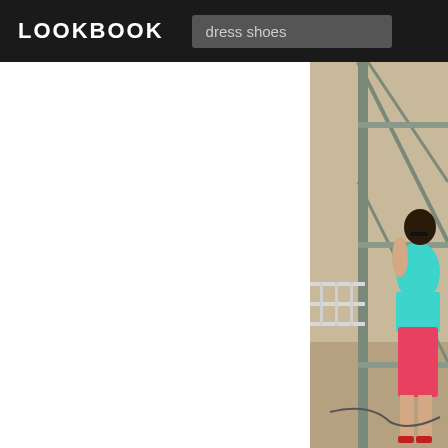LOOKBOOK
dress shoes
[Figure (photo): A person wearing a teal/turquoise top and pink/red skirt standing near a metal scaffolding structure outdoors, viewed from behind/side angle. Sandy/concrete ground visible.]